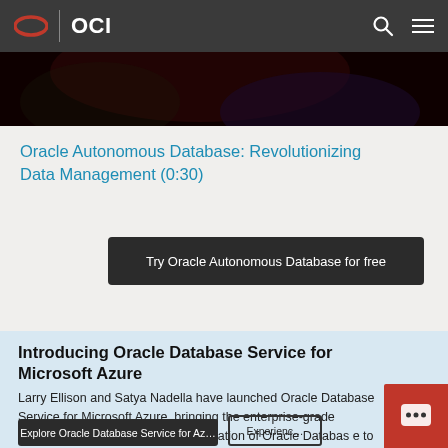OCI
[Figure (screenshot): Dark abstract image strip showing partial video thumbnail with dark red/blue tones]
Oracle Autonomous Database: Revolutionizing Data Management (0:30)
Try Oracle Autonomous Database for free
Introducing Oracle Database Service for Microsoft Azure
Larry Ellison and Satya Nadella have launched Oracle Database Service for Microsoft Azure, bringing the enterprise-grade performance, availability, and automation of Oracle Database to Azure customers.
Explore Oracle Database Service for Azure
Experience the…